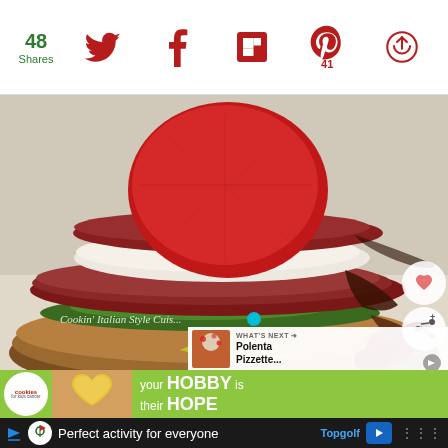[Figure (screenshot): Social media share bar with share count 48, Twitter, Facebook, Flipboard, Pinterest (41 saves), and another share icon on white background]
[Figure (photo): A plated Italian food dish showing layered mozzarella, prosciutto/salami, tomato on toasted bread with greens and balsamic reduction. Overlay watermark text 'Cookin Italian Style Cuis...' with heart and share buttons. 'WHAT'S NEXT' panel shows 'Polenta Pizzette...' thumbnail.]
[Figure (screenshot): Green advertisement banner for cookies for kids' cancer: 'your HOBBY is their HOPE' with a photo of hands holding a heart-shaped cookie]
[Figure (screenshot): Bottom dark advertisement bar: 'Perfect activity for everyone' Topgolf with navigation arrow icon and dots menu]